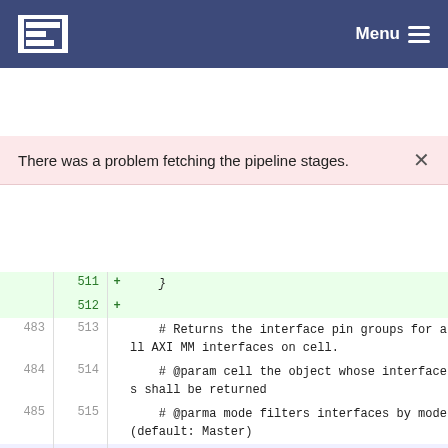CSE Menu
There was a problem fetching the pipeline stages.
[Figure (screenshot): Code diff view showing lines 511-521 of a TCL script with added and context lines. Lines 511-512 are added (green background). Lines 483-490 are context lines showing comments about interface pin groups, @param and @parma annotations, and a return statement with get_bd_intf_pins filtering for VLNV xilinx.com:interface:aximm_rtl:* && MODE == $mode.]